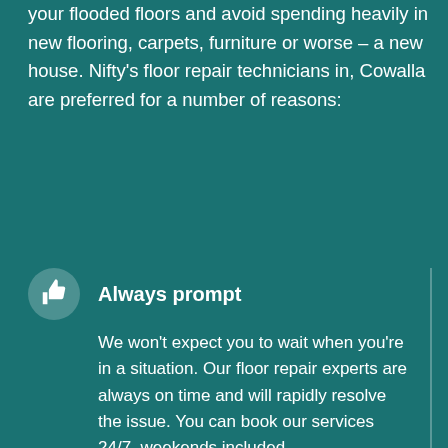your flooded floors and avoid spending heavily in new flooring, carpets, furniture or worse – a new house. Nifty's floor repair technicians in, Cowalla are preferred for a number of reasons:
Always prompt — We won't expect you to wait when you're in a situation. Our floor repair experts are always on time and will rapidly resolve the issue. You can book our services 24/7, weekends included.
Cost-efficient rates